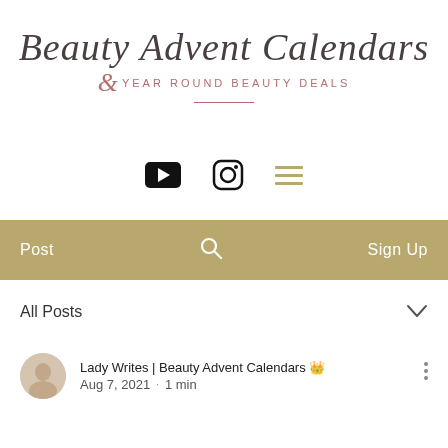[Figure (logo): Beauty Advent Calendars & Year Round Beauty Deals logo in script and serif typography with rose/gold color scheme]
[Figure (infographic): Social media icons row: YouTube play button (black), Instagram camera outline (black), and hamburger menu icon (gold/tan)]
[Figure (infographic): Navigation bar with tan/gold background showing Post, search icon, and Sign Up]
All Posts
Lady Writes | Beauty Advent Calendars 👑
Aug 7, 2021 · 1 min